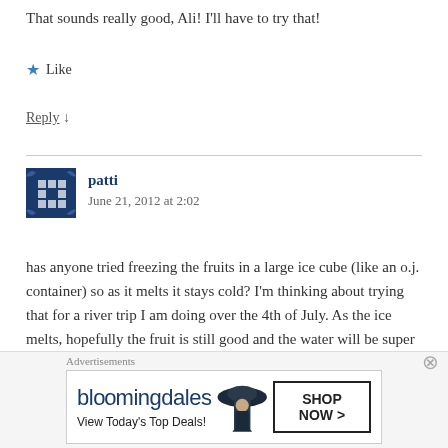That sounds really good, Ali! I'll have to try that!
★ Like
Reply ↓
patti
June 21, 2012 at 2:02
has anyone tried freezing the fruits in a large ice cube (like an o.j. container) so as it melts it stays cold? I'm thinking about trying that for a river trip I am doing over the 4th of July. As the ice melts, hopefully the fruit is still good and the water will be super cold and refreshing.
Advertisements
[Figure (other): Bloomingdale's advertisement banner with logo, View Today's Top Deals tagline, woman in hat, and SHOP NOW button]